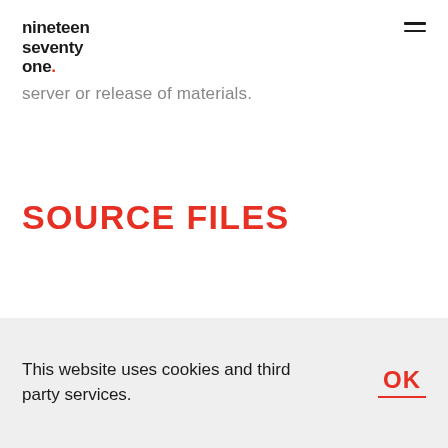nineteen seventy one.
server or release of materials.
SOURCE FILES
This website uses cookies and third party services.